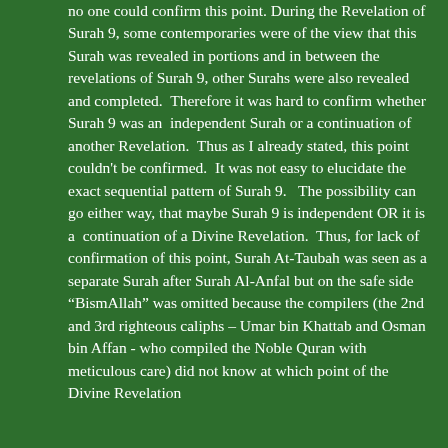no one could confirm this point. During the Revelation of Surah 9, some contemporaries were of the view that this Surah was revealed in portions and in between the revelations of Surah 9, other Surahs were also revealed and completed.  Therefore it was hard to confirm whether Surah 9 was an  independent Surah or a continuation of another Revelation.  Thus as I already stated, this point couldn't be confirmed.  It was not easy to elucidate the exact sequential pattern of Surah 9.   The possibility can go either way, that maybe Surah 9 is independent OR it is a  continuation of a Divine Revelation.  Thus, for lack of confirmation of this point, Surah At-Taubah was seen as a separate Surah after Surah Al-Anfal but on the safe side “BismAllah” was omitted because the compilers (the 2nd and 3rd righteous caliphs – Umar bin Khattab and Osman bin Affan - who compiled the Noble Quran with meticulous care) did not know at which point of the Divine Revelation